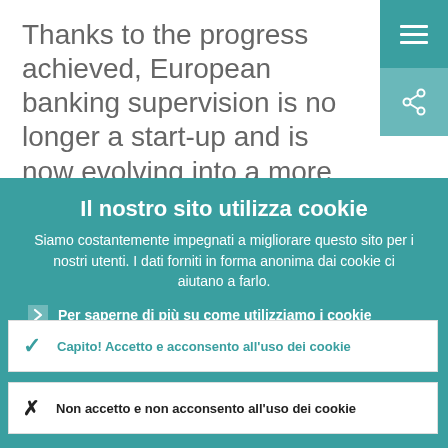Thanks to the progress achieved, European banking supervision is no longer a start-up and is now evolving into a more mature system.
Il nostro sito utilizza cookie
Siamo costantemente impegnati a migliorare questo sito per i nostri utenti. I dati forniti in forma anonima dai cookie ci aiutano a farlo.
Per saperne di più su come utilizziamo i cookie
Capito! Accetto e acconsento all'uso dei cookie
Non accetto e non acconsento all'uso dei cookie